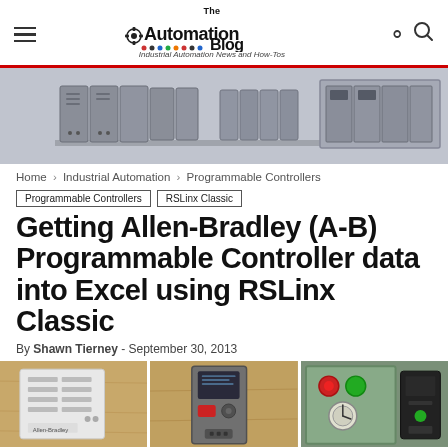The Automation Blog - Industrial Automation News and How-Tos
[Figure (photo): Row of grey Siemens PLC/controller modules on a DIN rail, multiple units of varying sizes]
Home › Industrial Automation › Programmable Controllers
Programmable Controllers
RSLinx Classic
Getting Allen-Bradley (A-B) Programmable Controller data into Excel using RSLinx Classic
By Shawn Tierney - September 30, 2013
[Figure (photo): Three industrial control panels/devices on wooden surface: a white panel with buttons/display, a grey Allen-Bradley controller, and a green electrical panel with components]